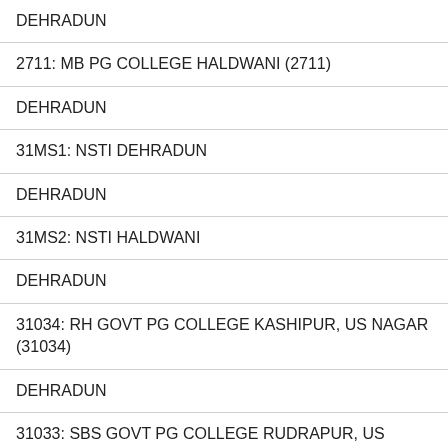| DEHRADUN |
| 2711: MB PG COLLEGE HALDWANI (2711) |
| DEHRADUN |
| 31MS1: NSTI DEHRADUN |
| DEHRADUN |
| 31MS2: NSTI HALDWANI |
| DEHRADUN |
| 31034: RH GOVT PG COLLEGE KASHIPUR, US NAGAR (31034) |
| DEHRADUN |
| 31033: SBS GOVT PG COLLEGE RUDRAPUR, US NAGAR (31033) |